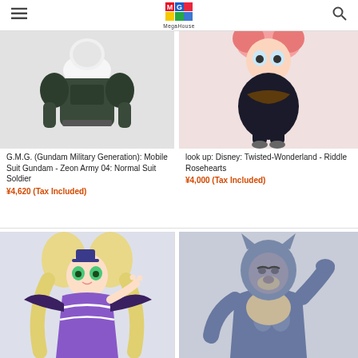MegaHouse
[Figure (photo): G.M.G. Gundam Military Generation Mobile Suit Gundam Zeon Army Normal Suit Soldier figure - dark green armored body without head]
G.M.G. (Gundam Military Generation): Mobile Suit Gundam - Zeon Army 04: Normal Suit Soldier
¥4,620 (Tax Included)
[Figure (photo): look up Disney Twisted-Wonderland Riddle Rosehearts chibi figure - small character in black outfit with red hair]
look up: Disney: Twisted-Wonderland - Riddle Rosehearts
¥4,000 (Tax Included)
[Figure (photo): Anime figure of a blonde girl with twin tails wearing a gothic-fantasy blue and purple costume with bat wings]
[Figure (photo): Figure of a muscular werewolf or beast-man character with blue-gray fur and wolf head, posing with hand behind head]